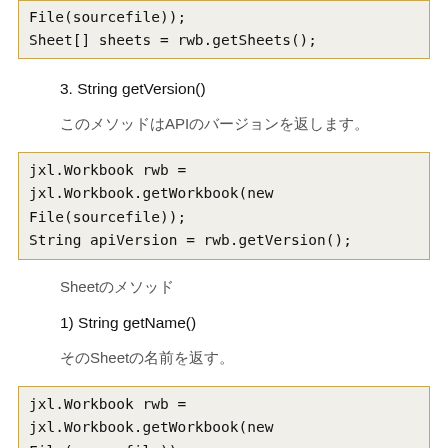[Figure (screenshot): Code block showing File(sourcefile)); and Sheet[] sheets = rwb.getSheets();]
3. String getVersion()
このメソッドはAPIのバージョンを返します。
[Figure (screenshot): Code block: jxl.Workbook rwb = jxl.Workbook.getWorkbook(new File(sourcefile)); String apiVersion = rwb.getVersion();]
Sheetのメソッド
1) String getName()
そのSheetの名前を返す。
[Figure (screenshot): Code block: jxl.Workbook rwb = jxl.Workbook.getWorkbook(new File(sourcefile)); jxl.Sheet rs = rwb.getSheet(0); String sheetName = rs.getName();]
2) int getColumns()